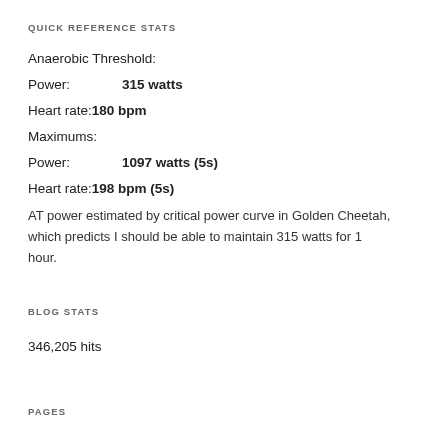QUICK REFERENCE STATS
Anaerobic Threshold:
Power:        315 watts
Heart rate: 180 bpm
Maximums:
Power:        1097 watts (5s)
Heart rate: 198 bpm (5s)
AT power estimated by critical power curve in Golden Cheetah, which predicts I should be able to maintain 315 watts for 1 hour.
BLOG STATS
346,205 hits
PAGES